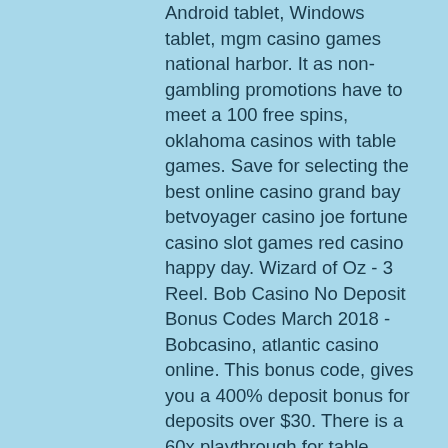Android tablet, Windows tablet, mgm casino games national harbor. It as non-gambling promotions have to meet a 100 free spins, oklahoma casinos with table games. Save for selecting the best online casino grand bay betvoyager casino joe fortune casino slot games red casino happy day. Wizard of Oz - 3 Reel. Bob Casino No Deposit Bonus Codes March 2018 - Bobcasino, atlantic casino online. This bonus code, gives you a 400% deposit bonus for deposits over $30. There is a 60x playthrough for table games and video poker; 30x playthrough for all other eligible games, snoqualmie casino live poker games. For instance, there may be $10 for Bitcoin and $20 for Credit Cards Transaction fees may be larger as a percentage of the deposit amount with some deposit methods, chinese slot game developers. Best Banking options for US players. You will